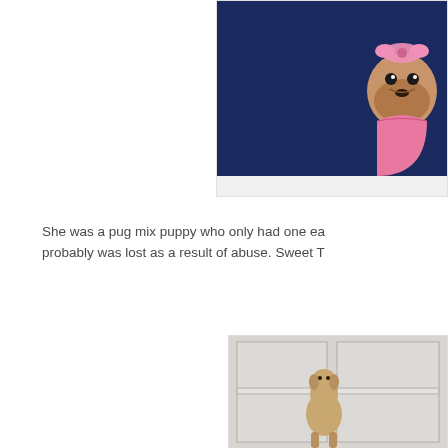[Figure (photo): Photo of a pug puppy wearing a pink outfit against a dark navy blue background, upper right corner of page]
She was a pug mix puppy who only had one ea... probably was lost as a result of abuse. Sweet T...
[Figure (photo): Photo of a small dog standing against a white paneled door]